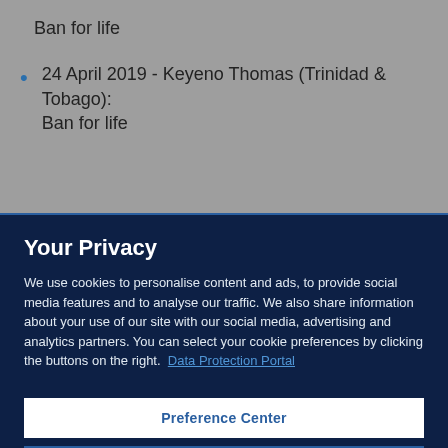Ban for life
24 April 2019 - Keyeno Thomas (Trinidad & Tobago): Ban for life
Your Privacy
We use cookies to personalise content and ads, to provide social media features and to analyse our traffic. We also share information about your use of our site with our social media, advertising and analytics partners. You can select your cookie preferences by clicking the buttons on the right.  Data Protection Portal
Preference Center
Reject All
I'm OK with that